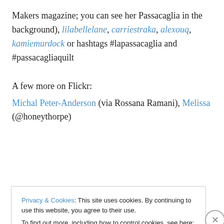Makers magazine; you can see her Passacaglia in the background), lilabellelane, carriestraka, alexouq, kamiemurdock or hashtags #lapassacaglia and #passacagliaquilt
A few more on Flickr:
Michal Peter-Anderson (via Rossana Ramani), Melissa (@honeythorpe)
Privacy & Cookies: This site uses cookies. By continuing to use this website, you agree to their use.
To find out more, including how to control cookies, see here: Cookie Policy
Close and accept